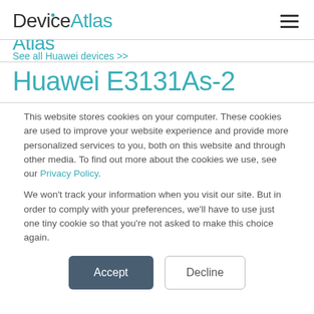DeviceAtlas
See all Huawei devices >>
Huawei E3131As-2
This website stores cookies on your computer. These cookies are used to improve your website experience and provide more personalized services to you, both on this website and through other media. To find out more about the cookies we use, see our Privacy Policy.
We won't track your information when you visit our site. But in order to comply with your preferences, we'll have to use just one tiny cookie so that you're not asked to make this choice again.
Accept  Decline